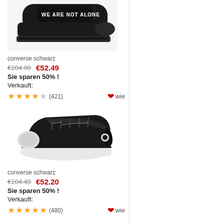[Figure (photo): Black Converse sneaker with 'WE ARE NOT ALONE' text on the side, shown on white background]
converse schwarz
€104.98   €52.49
Sie sparen 50% !
Verkauft:
★★★★☆ (421)   ❤wie
[Figure (photo): Black Converse low-top sneaker shown from side angle on white background]
converse schwarz
€104.40   €52.20
Sie sparen 50% !
Verkauft:
★★★★★ (480)   ❤wie